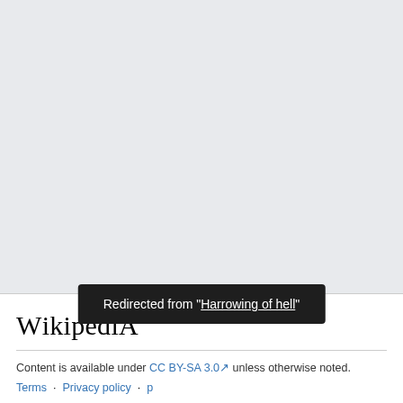Wikipedia
Content is available under CC BY-SA 3.0 unless otherwise noted.
Terms · Privacy policy · p
Redirected from "Harrowing of hell"